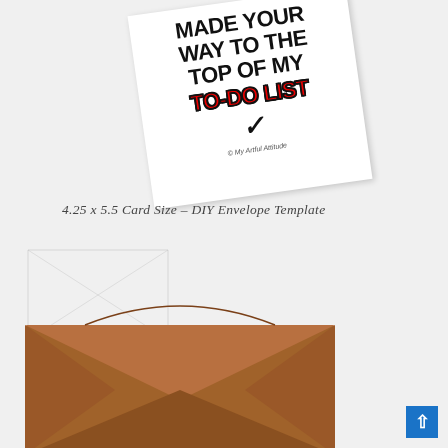[Figure (illustration): A greeting card tilted at an angle showing the text 'MADE YOUR WAY TO THE TOP OF MY TO-DO LIST' with a checkmark. The TO-DO LIST text is in red with black outline. Below the card is a copyright mark saying '© My Artful Attitude'.]
4.25 x 5.5 Card Size  -  DIY Envelope Template
[Figure (illustration): A kraft brown envelope shown at an angle in the lower portion of the image. There is also a faint outline of an envelope template in the background.]